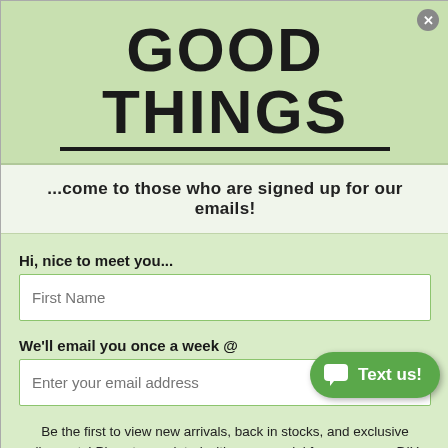GOOD THINGS
...come to those who are signed up for our emails!
Hi, nice to meet you...
First Name
We'll email you once a week @
Enter your email address
Be the first to view new arrivals, back in stocks, and exclusive discounts! Plus stay updated with us on social for even more DIY crafts inspiration!
Sign Me Up!
No, I don't want good things
[Figure (screenshot): Text us chat button overlay in green, bottom right corner]
[Figure (photo): Background photo of crafts materials, partially visible at bottom of page]